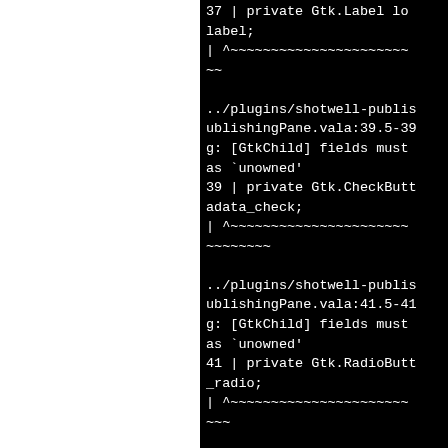37 | private Gtk.Label lo
label;
| ^~~~~~~~~~~~~~~~~~~~~~~
~~
../plugins/shotwell-publis
ublishingPane.vala:39.5-39
g: [GtkChild] fields must 
as `unowned'
39 | private Gtk.CheckButt
adata_check;
| ^~~~~~~~~~~~~~~~~~~~~~~
~~~~~~~~
../plugins/shotwell-publis
ublishingPane.vala:41.5-41
g: [GtkChild] fields must 
as `unowned'
41 | private Gtk.RadioButt
_radio;
| ^~~~~~~~~~~~~~~~~~~~~~~
~~~
../plugins/shotwell-publis
ublishingPane.vala:43.5-43
g: [GtkChild] fields must 
as `unowned'